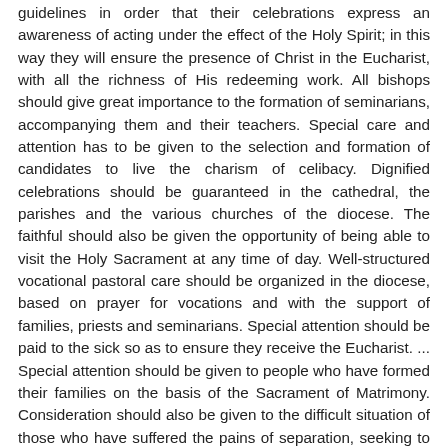guidelines in order that their celebrations express an awareness of acting under the effect of the Holy Spirit; in this way they will ensure the presence of Christ in the Eucharist, with all the richness of His redeeming work. All bishops should give great importance to the formation of seminarians, accompanying them and their teachers. Special care and attention has to be given to the selection and formation of candidates to live the charism of celibacy. Dignified celebrations should be guaranteed in the cathedral, the parishes and the various churches of the diocese. The faithful should also be given the opportunity of being able to visit the Holy Sacrament at any time of day. Well-structured vocational pastoral care should be organized in the diocese, based on prayer for vocations and with the support of families, priests and seminarians. Special attention should be paid to the sick so as to ensure they receive the Eucharist. ... Special attention should be given to people who have formed their families on the basis of the Sacrament of Matrimony. Consideration should also be given to the difficult situation of those who have suffered the pains of separation, seeking to approach them with an attitude of compassion, and offering them guidance and support to enable them to